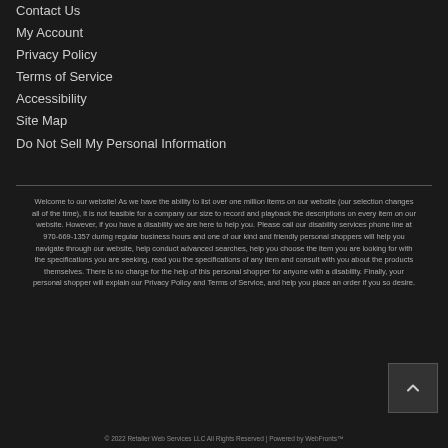Contact Us
My Account
Privacy Policy
Terms of Service
Accessibility
Site Map
Do Not Sell My Personal Information
Welcome to our website! As we have the ability to list over one million items on our website (our selection changes all of the time), it is not feasible for a company our size to record and playback the descriptions on every item on our website. However, if you have a disability we are here to help you. Please call our disability services phone line at 970-669-1357 during regular business hours and one of our kind and friendly personal shoppers will help you navigate through our website, help conduct advanced searches, help you choose the item you are looking for with the specifications you are seeking, read you the specifications of any item and consult with you about the products themselves. There is no charge for the help of this personal shopper for anyone with a disability. Finally, your personal shopper will explain our Privacy Policy and Terms of Service, and help you place an order if you so desire.
© 2022 Retailer Web Services LLC All Rights Reserved | Powered by WebFronts™